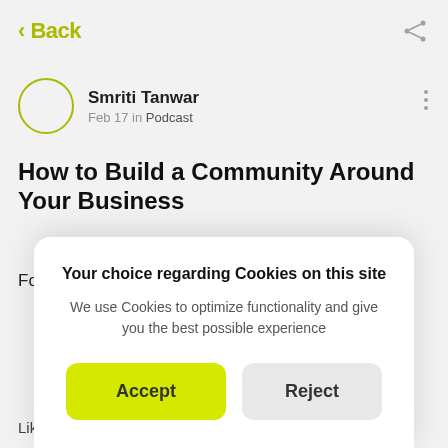< Back
Smriti Tanwar
Feb 17 in Podcast
How to Build a Community Around Your Business
Found this interesting podcast while browsing th
[Figure (screenshot): Cookie consent modal dialog with title 'Your choice regarding Cookies on this site', body text 'We use Cookies to optimize functionality and give you the best possible experience', and two buttons: 'Accept' (yellow/green) and 'Reject' (light gray)]
Liked by 3